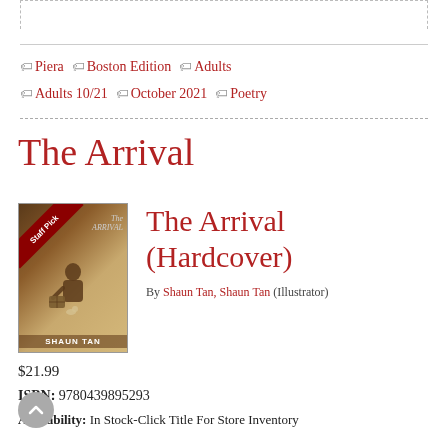Piera  Boston Edition  Adults  Adults 10/21  October 2021  Poetry
The Arrival
[Figure (photo): Book cover of 'The Arrival' by Shaun Tan with a Staff Pick ribbon in the top-left corner. Cover shows a figure hunched over luggage with a small creature nearby, on a warm golden-brown background.]
The Arrival (Hardcover)
By Shaun Tan, Shaun Tan (Illustrator)
$21.99
ISBN: 9780439895293
Availability: In Stock-Click Title For Store Inventory